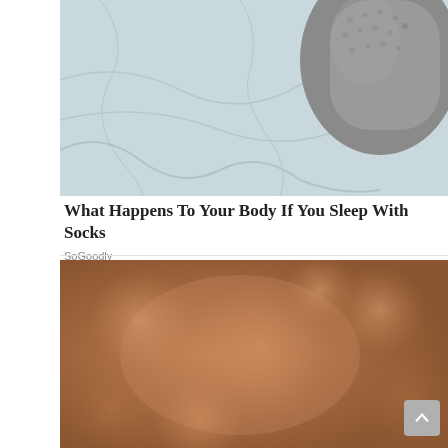[Figure (photo): Close-up of a person sleeping in bed wearing grey woolen socks, white bedsheet in background, top-down view]
What Happens To Your Body If You Sleep With Socks
SoGoodly
[Figure (photo): Close-up of bare human skin with warm brown/tan tones, blurred bokeh background]